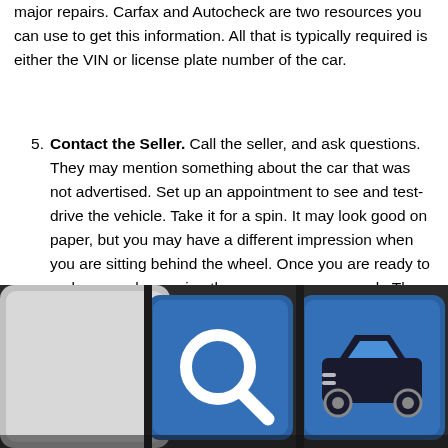major repairs. Carfax and Autocheck are two resources you can use to get this information. All that is typically required is either the VIN or license plate number of the car.
Contact the Seller. Call the seller, and ask questions. They may mention something about the car that was not advertised. Set up an appointment to see and test-drive the vehicle. Take it for a spin. It may look good on paper, but you may have a different impression when you are sitting behind the wheel. Once you are ready to make a purchase, sign the necessary paperwork. Then, the automobile is yours to take home.
[Figure (photo): Close-up photo of keyboard keys including a blue key with a car icon and a blue key with a magnifying glass/search icon on a dark background.]